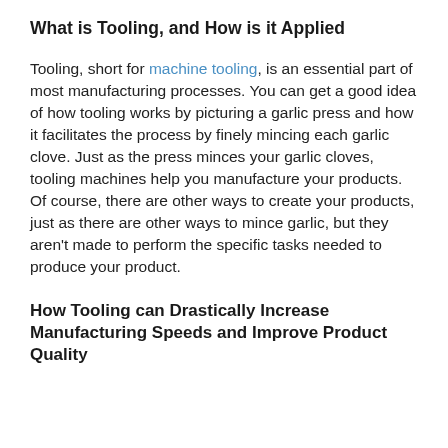What is Tooling, and How is it Applied
Tooling, short for machine tooling, is an essential part of most manufacturing processes. You can get a good idea of how tooling works by picturing a garlic press and how it facilitates the process by finely mincing each garlic clove. Just as the press minces your garlic cloves, tooling machines help you manufacture your products. Of course, there are other ways to create your products, just as there are other ways to mince garlic, but they aren’t made to perform the specific tasks needed to produce your product.
How Tooling can Drastically Increase Manufacturing Speeds and Improve Product Quality